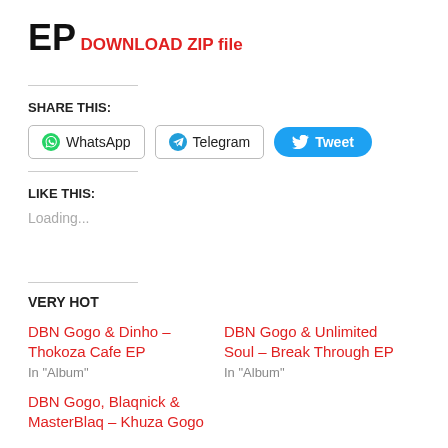EP
DOWNLOAD ZIP file
SHARE THIS:
WhatsApp  Telegram  Tweet
LIKE THIS:
Loading...
VERY HOT
DBN Gogo & Dinho – Thokoza Cafe EP
In "Album"
DBN Gogo & Unlimited Soul – Break Through EP
In "Album"
DBN Gogo, Blaqnick & MasterBlaq – Khuza Gogo